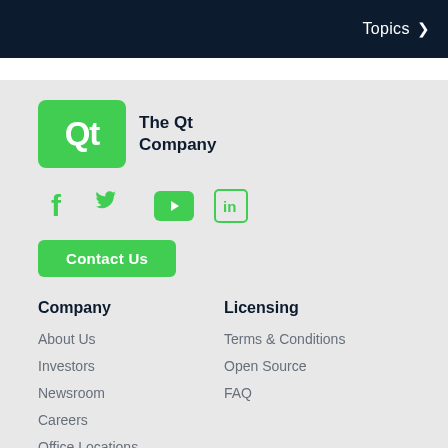Topics
[Figure (logo): The Qt Company logo: green rounded rectangle with white Qt text, followed by 'The Qt Company' text]
[Figure (illustration): Social media icons row: Facebook, Twitter, YouTube, LinkedIn]
Contact Us
Company
About Us
Investors
Newsroom
Careers
Office Locations
Licensing
Terms & Conditions
Open Source
FAQ